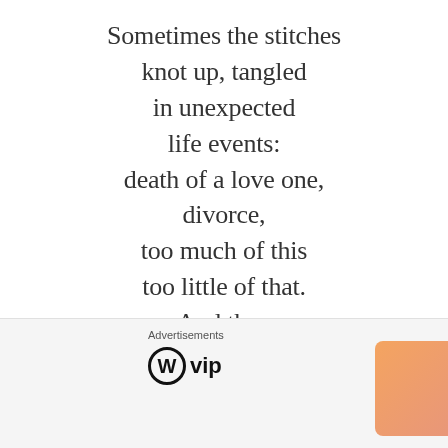Sometimes the stitches knot up, tangled in unexpected life events: death of a love one, divorce, too much of this too little of that. And then it smooths out when new bonds are made, babies are born, life goes on
Advertisements
[Figure (logo): WordPress VIP logo with circle W icon and 'vip' text, alongside a colorful gradient advertisement banner with 'Learn more →' button]